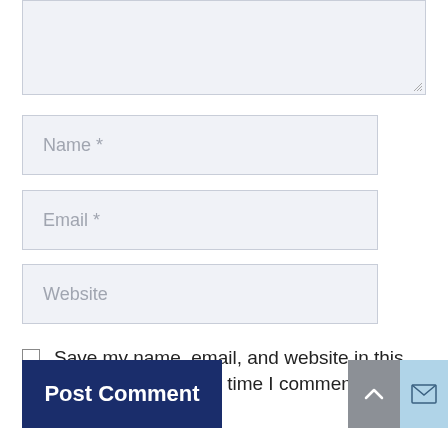[Figure (screenshot): A comment form textarea (partially visible, empty) at the top of the page with a light blue-gray background and resize handle in bottom-right corner]
Name *
Email *
Website
Save my name, email, and website in this browser for the next time I comment.
Post Comment